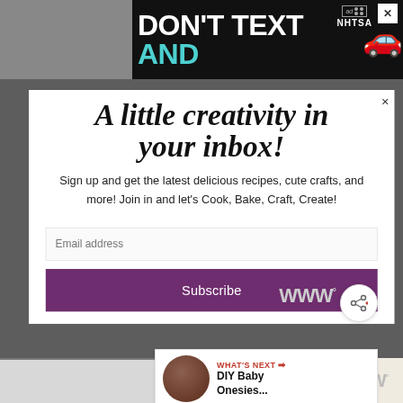[Figure (screenshot): Ad banner at top: DON'T TEXT AND [car emoji] with NHTSA logo, close button]
A little creativity in your inbox!
Sign up and get the latest delicious recipes, cute crafts, and more! Join in and let's Cook, Bake, Craft, Create!
Email address
Subscribe
[Figure (infographic): What's Next: DIY Baby Onesies... with thumbnail image]
[Figure (logo): WWD degree logo bottom right]